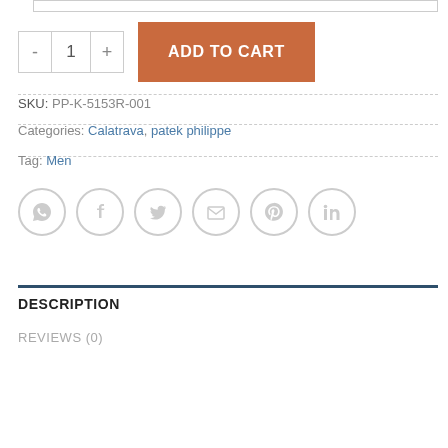ADD TO CART (quantity selector with - 1 + buttons)
SKU: PP-K-5153R-001
Categories: Calatrava, patek philippe
Tag: Men
[Figure (infographic): Six circular social media / share icons in a row: WhatsApp, Facebook, Twitter, Email, Pinterest, LinkedIn]
DESCRIPTION
REVIEWS (0)